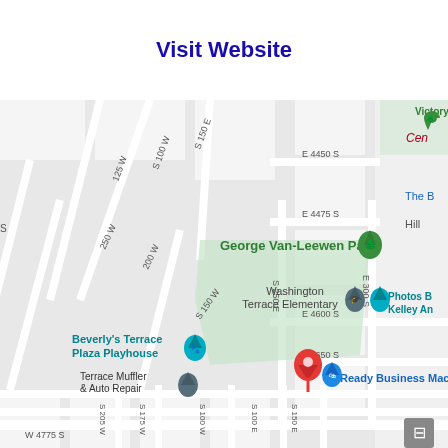Visit Website
[Figure (map): Google Maps screenshot showing a neighborhood map with streets labeled S 100 W, S 125 W, S 150 E, S 150 W, S 200 W, S 250 E, S 250 W, S 300 E, E 4450 S, E 4475 S, E 4600 S, E 4650 S, W 4775 S. Points of interest include Victory Park, George Van-Leewen Park (green marker with tree icon), Washington Terrace Elementary (gray marker with graduation cap), Beverly's Terrace Plaza Playhouse (teal marker with paw icon), Terrace Muffler & Auto Repair (dark gray marker), Ready Business Machines (blue marker with shopping bag), Photos By Kelley An (teal marker), and The Church of Jesus Christ of Latter... A red location pin is visible near the center-bottom of the map. The text 'Cen', 'The B', and 'Hill' are partially visible on the right edge.]